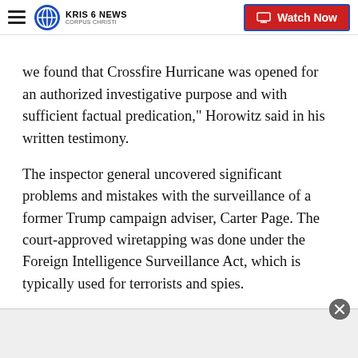KRIS 6 NEWS CORPUS CHRISTI | Watch Now
we found that Crossfire Hurricane was opened for an authorized investigative purpose and with sufficient factual predication," Horowitz said in his written testimony.
The inspector general uncovered significant problems and mistakes with the surveillance of a former Trump campaign adviser, Carter Page. The court-approved wiretapping was done under the Foreign Intelligence Surveillance Act, which is typically used for terrorists and spies.